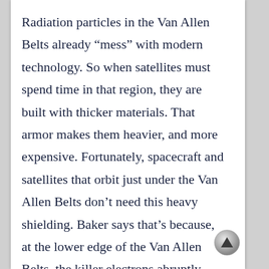Radiation particles in the Van Allen Belts already “mess” with modern technology. So when satellites must spend time in that region, they are built with thicker materials. That armor makes them heavier, and more expensive. Fortunately, spacecraft and satellites that orbit just under the Van Allen Belts don’t need this heavy shielding. Baker says that’s because, at the lower edge of the Van Allen Belts, the killer electrons abruptly stop.